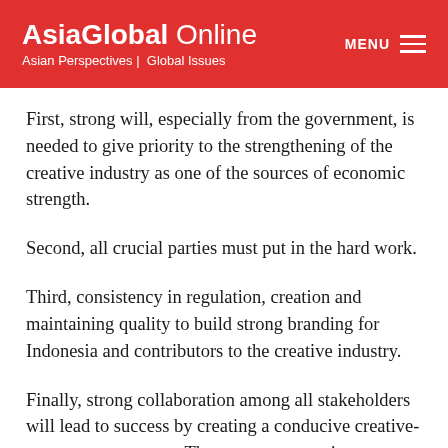AsiaGlobal Online — Asian Perspectives | Global Issues
First, strong will, especially from the government, is needed to give priority to the strengthening of the creative industry as one of the sources of economic strength.
Second, all crucial parties must put in the hard work.
Third, consistency in regulation, creation and maintaining quality to build strong branding for Indonesia and contributors to the creative industry.
Finally, strong collaboration among all stakeholders will lead to success by creating a conducive creative-economy ecosystem. The government, private sector, and talents must work hand in hand to move forward.